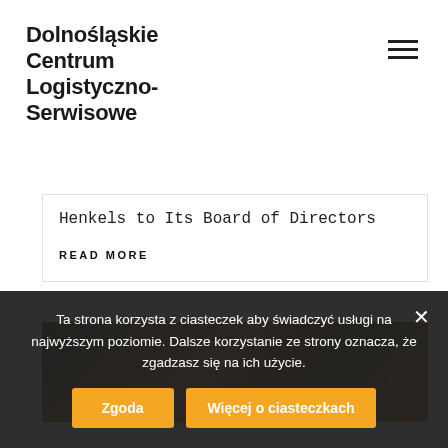Dolnośląskie Centrum Logistyczno-Serwisowe
Henkels to Its Board of Directors
READ MORE
[Figure (photo): Warehouse interior with shelving and boxes, showing a person from behind]
Ta strona korzysta z ciasteczek aby świadczyć usługi na najwyższym poziomie. Dalsze korzystanie ze strony oznacza, że zgadzasz się na ich użycie.
Zgoda
Więcej o ciasteczkach